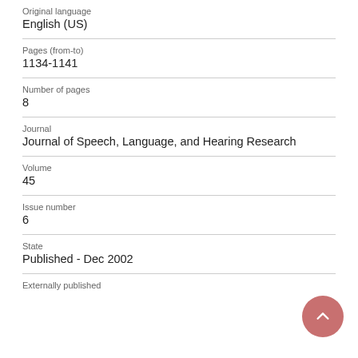Original language
English (US)
Pages (from-to)
1134-1141
Number of pages
8
Journal
Journal of Speech, Language, and Hearing Research
Volume
45
Issue number
6
State
Published - Dec 2002
Externally published